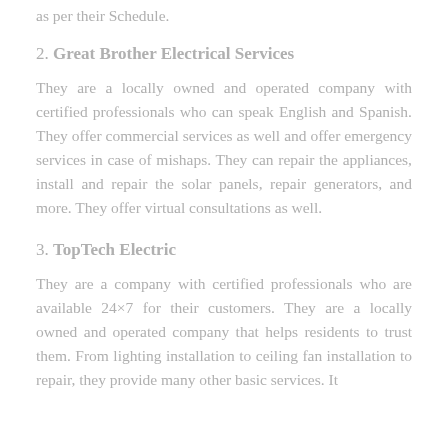as per their Schedule.
2. Great Brother Electrical Services
They are a locally owned and operated company with certified professionals who can speak English and Spanish. They offer commercial services as well and offer emergency services in case of mishaps. They can repair the appliances, install and repair the solar panels, repair generators, and more. They offer virtual consultations as well.
3. TopTech Electric
They are a company with certified professionals who are available 24×7 for their customers. They are a locally owned and operated company that helps residents to trust them. From lighting installation to ceiling fan installation to repair, they provide many other basic services. It